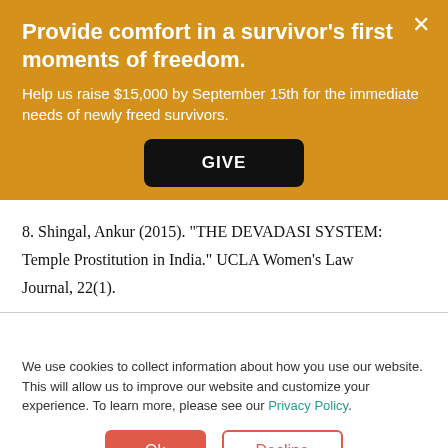Provide comfort in a survivor’s first moments of freedom.
Help us raise $15,000 by September 15th for the immediate needs of newly freed survivors.
GIVE
8. Shingal, Ankur (2015). “THE DEVADASI SYSTEM: Temple Prostitution in India.” UCLA Women’s Law Journal, 22(1).
We use cookies to collect information about how you use our website. This will allow us to improve our website and customize your experience. To learn more, please see our Privacy Policy.
Ok
Decline